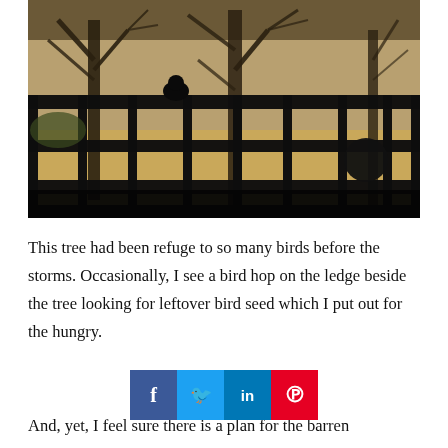[Figure (photo): A dark photograph taken from inside looking through iron railing/fence bars at bare winter trees in a park or yard. A bird silhouette is visible on the railing. A round black bird feeder globe is visible on the right side. The background shows sandy/leaf-covered ground and more bare trees behind a fence.]
This tree had been refuge to so many birds before the storms. Occasionally, I see a bird hop on the ledge beside the tree looking for leftover bird seed which I put out for the hungry.
And, yet, I feel sure there is a plan for the barren